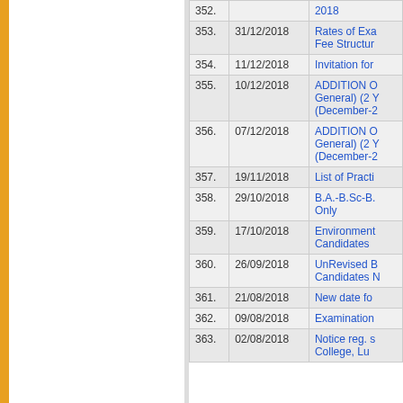| No. | Date | Title |
| --- | --- | --- |
| 352. |  | 2018 |
| 353. | 31/12/2018 | Rates of Exa Fee Structur... |
| 354. | 11/12/2018 | Invitation for... |
| 355. | 10/12/2018 | ADDITION O General) (2 Y (December-2... |
| 356. | 07/12/2018 | ADDITION O General) (2 Y (December-2... |
| 357. | 19/11/2018 | List of Practi... |
| 358. | 29/10/2018 | B.A.-B.Sc-B. Only |
| 359. | 17/10/2018 | Environment Candidates... |
| 360. | 26/09/2018 | UnRevised B Candidates N... |
| 361. | 21/08/2018 | New date fo... |
| 362. | 09/08/2018 | Examination... |
| 363. | 02/08/2018 | Notice reg. s College, Lu... |